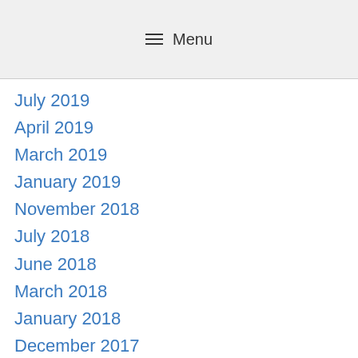≡ Menu
July 2019
April 2019
March 2019
January 2019
November 2018
July 2018
June 2018
March 2018
January 2018
December 2017
November 2017